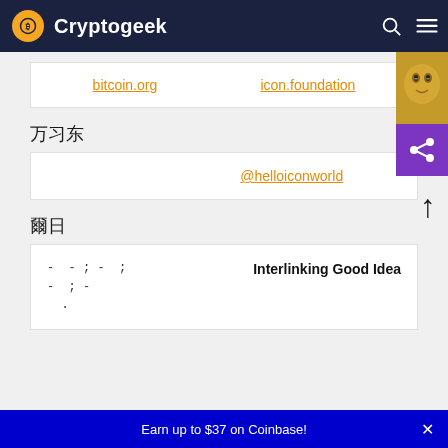Cryptogeek
| bitcoin.org | icon.foundation |
관련 사이트
| ?????? ?????? | @helloiconworld |
평가
| -?? ? -?? ????; -?? ?? ??; -?? ?? ??; -???? ?? ???? ?? ???? ???????? ????????. | Interlinking Good Idea |
Earn up to $37 on Coinbase!